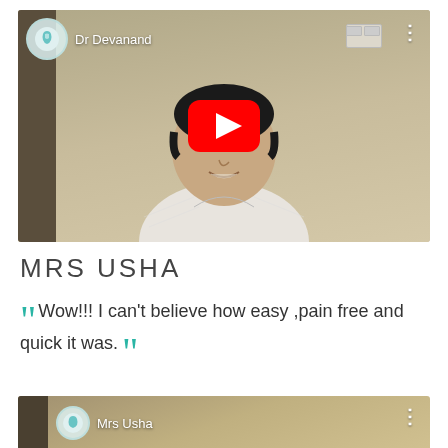[Figure (screenshot): YouTube video thumbnail showing a man in a white shirt sitting in front of a light-colored wall. The video is from channel 'Dr Devanand' with a dental/tooth logo icon and a red YouTube play button overlaid in the center.]
MRS USHA
Wow!!! I can't believe how easy ,pain free and quick it was.
[Figure (screenshot): Partially visible YouTube video thumbnail showing 'Mrs Usha' channel name with dental logo icon at bottom of page.]